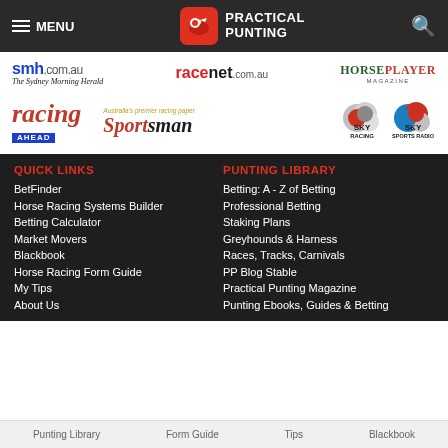MENU | PRACTICAL PUNTING
[Figure (logo): Partner logos row 1: smh.com.au / The Sydney Morning Herald, racenet.com.au, HORSEPLAYER magazine]
[Figure (logo): Partner logos row 2: Racing Ahead, Sportsman (Australia's premier racing paper), Sky Racing, Sky Sports Radio]
QUICK LINKS
BetFinder
Horse Racing Systems Builder
Betting Calculator
Market Movers
Blackbook
Horse Racing Form Guide
My Tips
About Us
PUNTING LIBRARY
Betting: A - Z of Betting
Professional Betting
Staking Plans
Greyhounds & Harness
Races, Tracks, Carnivals
PP Blog Stable
Practical Punting Magazine
Punting Ebooks, Guides & Betting
Punting Library   Form Guide   Tips   Blackbook